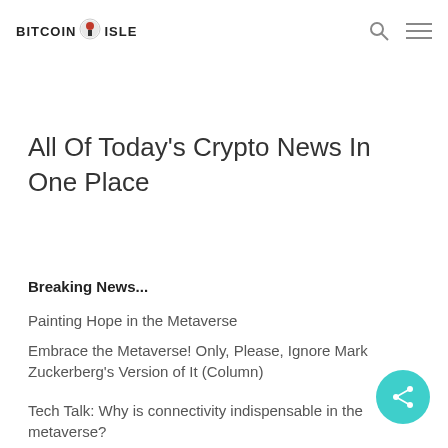BITCOIN ISLE
All Of Today's Crypto News In One Place
Breaking News...
Painting Hope in the Metaverse
Embrace the Metaverse! Only, Please, Ignore Mark Zuckerberg's Version of It (Column)
Tech Talk: Why is connectivity indispensable in the metaverse?